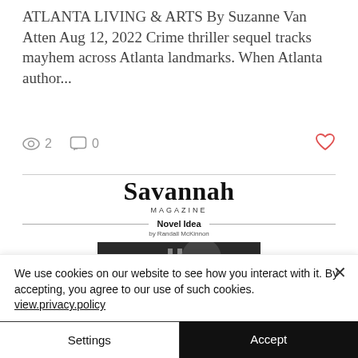ATLANTA LIVING & ARTS By Suzanne Van Atten Aug 12, 2022 Crime thriller sequel tracks mayhem across Atlanta landmarks. When Atlanta author...
👁 2   💬 0   ♥
[Figure (screenshot): Savannah Magazine logo with 'Novel Idea' article header and a dark image below]
We use cookies on our website to see how you interact with it. By accepting, you agree to our use of such cookies. view.privacy.policy